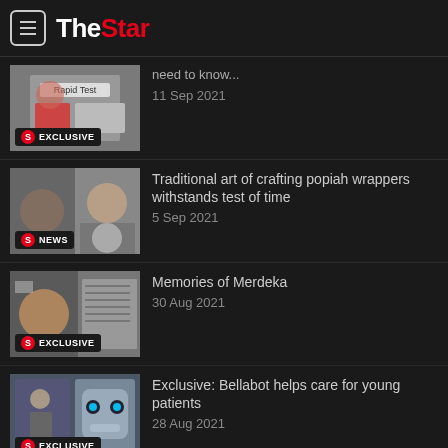The Star
need to know... 11 Sep 2021
Traditional art of crafting popiah wrappers withstands test of time 5 Sep 2021
Memories of Merdeka 30 Aug 2021
Exclusive: Bellabot helps care for young patients 28 Aug 2021
Covid-19: A wedding videographer turned humanitarian 31 Jul 2021